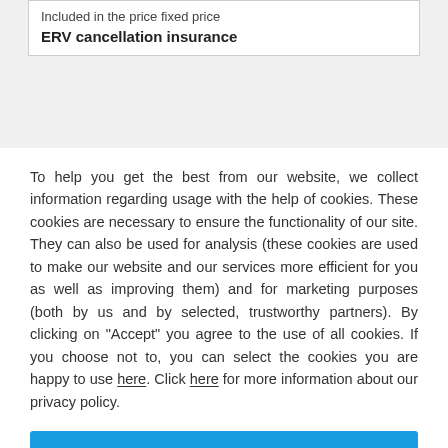Included in the price fixed price
ERV cancellation insurance
To help you get the best from our website, we collect information regarding usage with the help of cookies. These cookies are necessary to ensure the functionality of our site. They can also be used for analysis (these cookies are used to make our website and our services more efficient for you as well as improving them) and for marketing purposes (both by us and by selected, trustworthy partners). By clicking on "Accept" you agree to the use of all cookies. If you choose not to, you can select the cookies you are happy to use here. Click here for more information about our privacy policy.
Accept
Decline
Configure